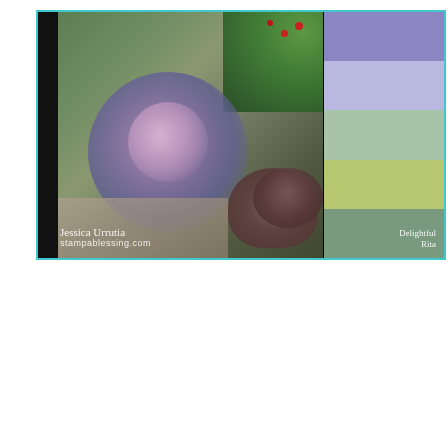[Figure (photo): Color inspiration card showing a close-up photo of a purple/blue succulent plant with red berries and green foliage in the background. Left side has a black vertical bar. Bottom-left corner shows handwriting 'Jessica Urrutia' and 'stampablessing.com'. Right side shows five color swatches: medium purple, light lavender, soft sage green, yellow-green, and muted teal with 'Delightful Rita' text.]
[Figure (infographic): Simple Cardmaking card header with lavender textured background on the left, bold title 'Simple Cardmaking' with script 'by Jessica Urrutia', a divider line, 'stampablessing.com' in pink, and supply list: Cardstock: Soft Succulent, Basic White, Highland Heather; Stamp set: Eden's Garden Collection; Inks:]